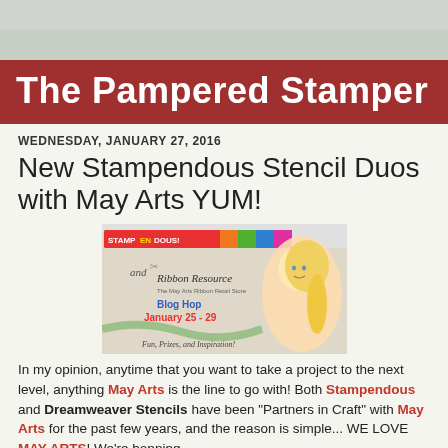The Pampered Stamper
WEDNESDAY, JANUARY 27, 2016
New Stampendous Stencil Duos with May Arts YUM!
[Figure (illustration): Blog hop banner for Stampendous and The Ribbon Resource (May Arts Ribbon Retail Store). Features a cartoon blonde girl, colorful stripe bar at top, text: 'and', 'Ribbon Resource', 'The May Arts Ribbon Retail Store', 'Blog Hop January 25 - 29', 'Fun, Prizes, and Inspiration!']
In my opinion, anytime that you want to take a project to the next level, anything May Arts is the line to go with! Both Stampendous and Dreamweaver Stencils have been "Partners in Craft" with May Arts for the past few years, and the reason is simple... WE LOVE MAY ARTS! We're hopping